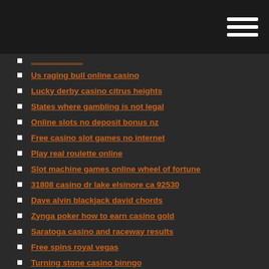Us raging bull online casino
Lucky derby casino citrus heights
States where gambling is not legal
Online slots no deposit bonus nz
Free casino slot games no internet
Play real roulette online
Slot machine games online wheel of fortune
31808 casino dr lake elsinore ca 92530
Dave alvin blackjack david chords
Zynga poker how to earn casino gold
Saratoga casino and raceway results
Free spins royal vegas
Turning stone casino binngo
Last minute formule roulette charm